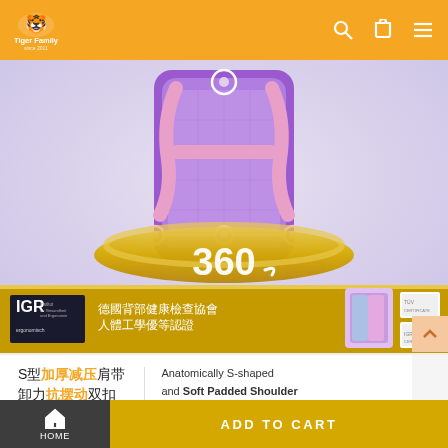Tiger Family — navigation header with logo, search, cart, and menu icons
[Figure (photo): Product detail photo of a purple children's school backpack showing the back panel with S-shaped shoulder straps, a 360-degree ergonomic halo ring, and the IGR (Institut für Gesundheit und Ergonomie) certification logos. The image features a gold band around the backpack and text '360' in white, plus IGR certification badges and Chinese certification text.]
S型加厚减压肩带 卸力抗摆动双扣 减负减压 有效分散书包重量
Anatomically S-shaped and Soft Padded Shoulder Straps for Perfect Fit
HOME | ADD TO CART